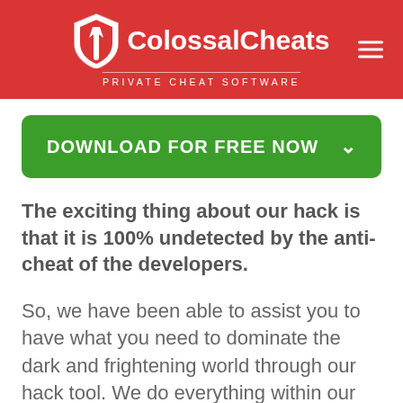ColossalCheats PRIVATE CHEAT SOFTWARE
[Figure (other): Green download button with text DOWNLOAD FOR FREE NOW and chevron arrow]
The exciting thing about our hack is that it is 100% undetected by the anti-cheat of the developers.
So, we have been able to assist you to have what you need to dominate the dark and frightening world through our hack tool. We do everything within our capability to make sure that you get the things you need to improve your gaming experience